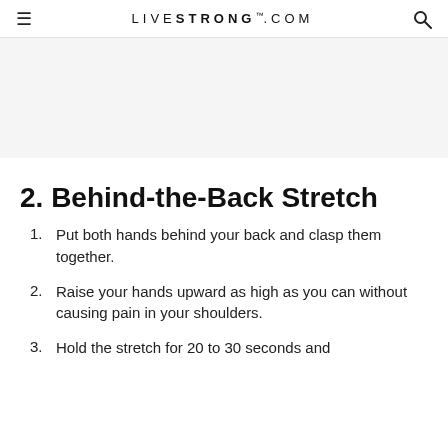LIVESTRONG.COM
[Figure (other): Gray advertisement banner area]
2. Behind-the-Back Stretch
Put both hands behind your back and clasp them together.
Raise your hands upward as high as you can without causing pain in your shoulders.
Hold the stretch for 20 to 30 seconds and